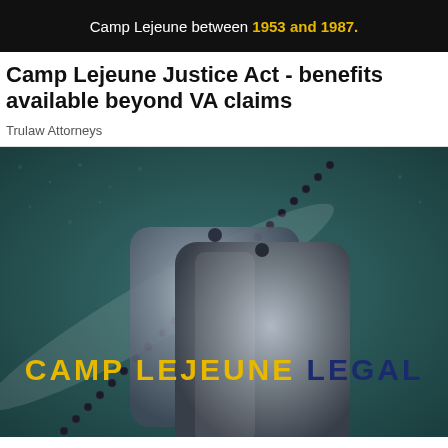Camp Lejeune between 1953 and 1987.
Camp Lejeune Justice Act - benefits available beyond VA claims
Trulaw Attorneys
[Figure (photo): Military dog tags on a dark teal textured background with the text CAMP LEJEUNE LEGAL overlaid in yellow and dark blue bold letters.]